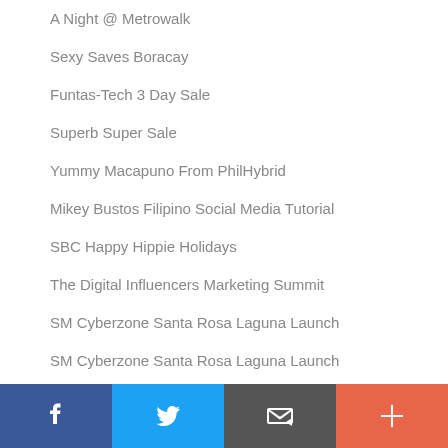A Night @ Metrowalk
Sexy Saves Boracay
Funtas-Tech 3 Day Sale
Superb Super Sale
Yummy Macapuno From PhilHybrid
Mikey Bustos Filipino Social Media Tutorial
SBC Happy Hippie Holidays
The Digital Influencers Marketing Summit
SM Cyberzone Santa Rosa Laguna Launch
SM Cyberzone Santa Rosa Laguna Launch
City Delivery
Heaven and Hell Halloween Party
Facebook | Twitter | Email | Plus